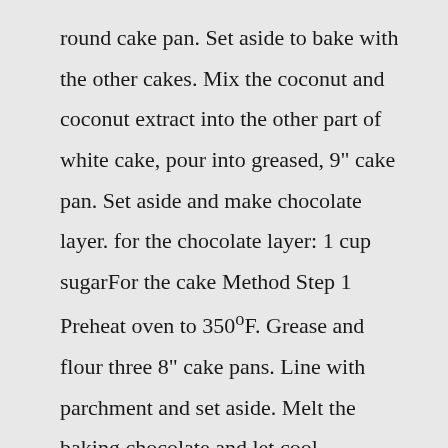round cake pan. Set aside to bake with the other cakes. Mix the coconut and coconut extract into the other part of white cake, pour into greased, 9" cake pan. Set aside and make chocolate layer. for the chocolate layer: 1 cup sugarFor the cake Method Step 1 Preheat oven to 350°F. Grease and flour three 8" cake pans. Line with parchment and set aside. Melt the baking chocolate and let cool completely. In a large bowl, whip